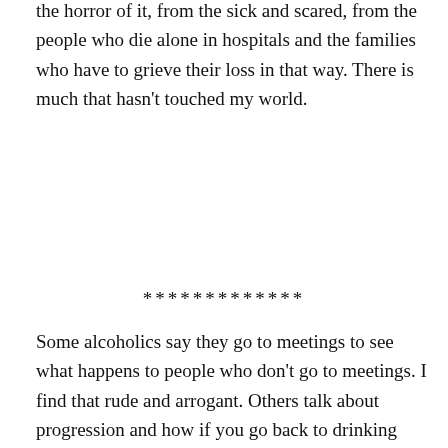the horror of it, from the sick and scared, from the people who die alone in hospitals and the families who have to grieve their loss in that way. There is much that hasn't touched my world.
*************
Some alcoholics say they go to meetings to see what happens to people who don't go to meetings. I find that rude and arrogant. Others talk about progression and how if you go back to drinking after being sober things are
Privacy & Cookies: This site uses cookies. By continuing to use this website, you agree to their use.
To find out more, including how to control cookies, see here: Cookie Policy
Close and accept
might be interested but I found him short and unattractive